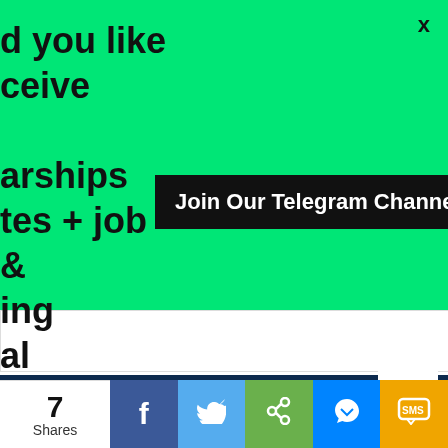d you like
ceive

arships
tes + job
&
ing
al
rtunities?
x
Join Our Telegram Channel HERE Now
7
Shares
[Figure (infographic): Social share bar with Facebook, Twitter, Share, Messenger, SMS buttons]